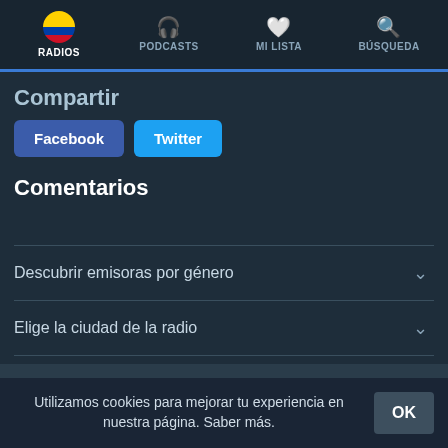RADIOS | PODCASTS | MI LISTA | BÚSQUEDA
Compartir
Facebook   Twitter
Comentarios
Descubrir emisoras por género
Elige la ciudad de la radio
© AppMind 2021. Reservados todos los derechos
Utilizamos cookies para mejorar tu experiencia en nuestra página. Saber más.  OK